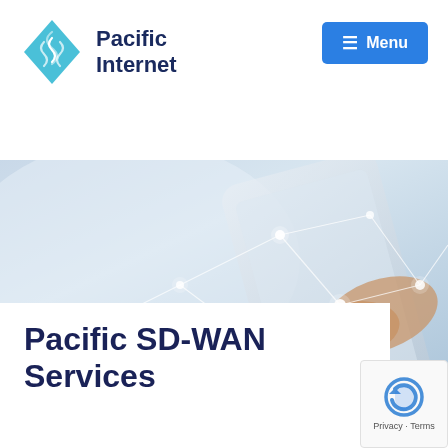[Figure (logo): Pacific Internet logo: teal diamond/wave icon with 'Pacific Internet' text in dark navy blue]
☰ Menu
[Figure (photo): A hand holding a smartphone with glowing network connection nodes and lines overlaid on a light blue background]
Pacific SD-WAN Services
[Figure (other): Google reCAPTCHA badge with Privacy · Terms text]